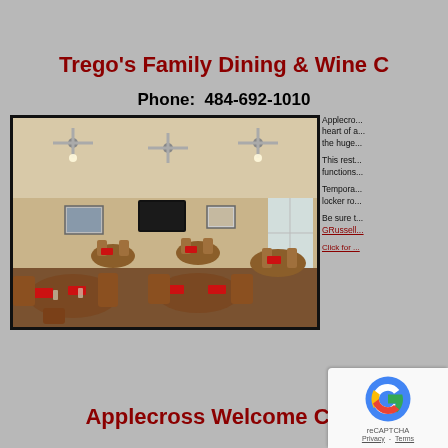Trego's Family Dining & Wine C
Phone:  484-692-1010
[Figure (photo): Interior of Trego's Family Dining restaurant showing dining room with wooden tables and chairs, red napkins, ceiling fans, a TV on the wall, framed pictures, and windows in the background.]
Applecro... heart of a... the huge... This rest... functions...

Tempora... locker ro...

Be sure t... GRussell...

Click for ...
Applecross Welcome Cent